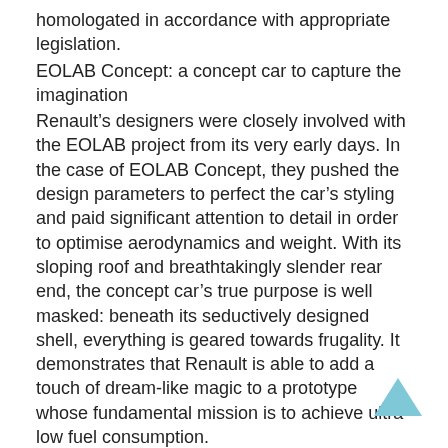homologated in accordance with appropriate legislation.
EOLAB Concept: a concept car to capture the imagination
Renault’s designers were closely involved with the EOLAB project from its very early days. In the case of EOLAB Concept, they pushed the design parameters to perfect the car’s styling and paid significant attention to detail in order to optimise aerodynamics and weight. With its sloping roof and breathtakingly slender rear end, the concept car’s true purpose is well masked: beneath its seductively designed shell, everything is geared towards frugality. It demonstrates that Renault is able to add a touch of dream-like magic to a prototype whose fundamental mission is to achieve ultra-low fuel consumption.
[/showhide]